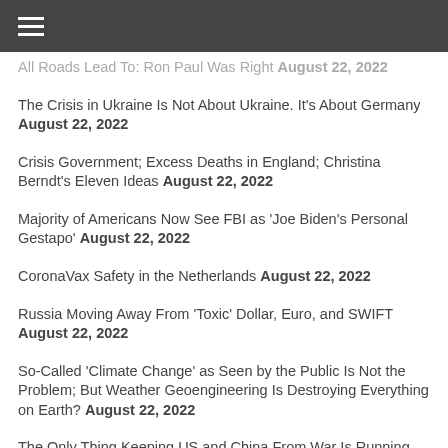≡
All Roads Lead To: Ron Paul Was Right August 22, 2022
The Crisis in Ukraine Is Not About Ukraine. It's About Germany August 22, 2022
Crisis Government; Excess Deaths in England; Christina Berndt's Eleven Ideas August 22, 2022
Majority of Americans Now See FBI as 'Joe Biden's Personal Gestapo' August 22, 2022
CoronaVax Safety in the Netherlands August 22, 2022
Russia Moving Away From 'Toxic' Dollar, Euro, and SWIFT August 22, 2022
So-Called 'Climate Change' as Seen by the Public Is Not the Problem; But Weather Geoengineering Is Destroying Everything on Earth? August 22, 2022
The Only Thing Keeping US and China From War Is Running Dangerously Thin August 22, 2022
Biodigital Convergence: Bombshell Document Reveals the
Generated by Feedzy